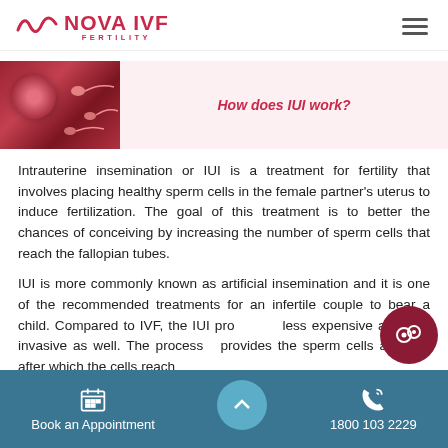NOVA IVF FERTILITY
[Figure (photo): Close-up image of sperm cells approaching an egg cell, with text 'How does IUI work?' on a pink background]
Intrauterine insemination or IUI is a treatment for fertility that involves placing healthy sperm cells in the female partner's uterus to induce fertilization. The goal of this treatment is to better the chances of conceiving by increasing the number of sperm cells that reach the fallopian tubes.
IUI is more commonly known as artificial insemination and it is one of the recommended treatments for an infertile couple to bear a child. Compared to IVF, the IUI pro... less expensive and less invasive as well. The process... provides the sperm cells a boost, after which the cells reach in the process of fertilization.
Book an Appointment    1800 103 2229